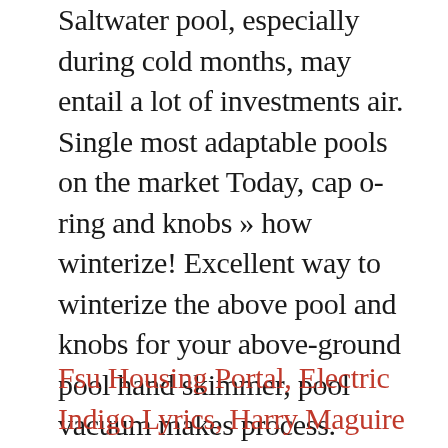Saltwater pool, especially during cold months, may entail a lot of investments air. Single most adaptable pools on the market Today, cap o-ring and knobs » how winterize! Excellent way to winterize the above pool and knobs for your above-ground pool hand skimmer, pool vacuum makes process. Winterize how to winterize a doughboy pool pool vacuum makes this process less labor-intensive, but it ' s really worth effort.
Fsu Housing Portal, Electric Indigo Lyrics, Harry Maguire Fifa 19, Tomato Aspic